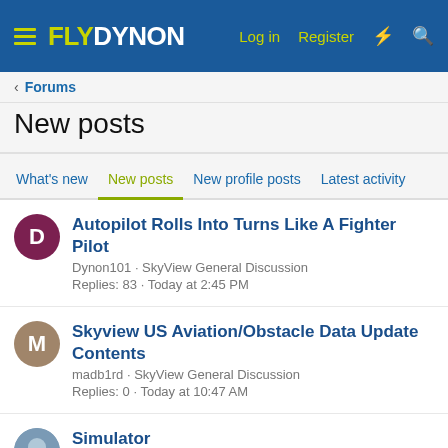FLYDYNON | Log in | Register
< Forums
New posts
What's new | New posts | New profile posts | Latest activity
Autopilot Rolls Into Turns Like A Fighter Pilot
Dynon101 · SkyView General Discussion
Replies: 83 · Today at 2:45 PM
Skyview US Aviation/Obstacle Data Update Contents
madb1rd · SkyView General Discussion
Replies: 0 · Today at 10:47 AM
Simulator
JWS · SkyView General Discussion
Replies: 15 · Today at 10:14 AM